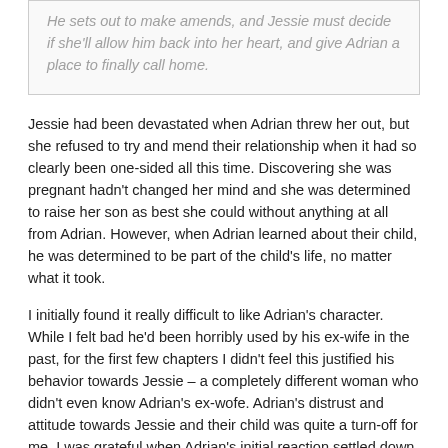He sets out to make amends, and Jessie must decide if she'll allow him back into her heart, and give Adrian a place to finally call home.
Jessie had been devastated when Adrian threw her out, but she refused to try and mend their relationship when it had so clearly been one-sided all this time. Discovering she was pregnant hadn't changed her mind and she was determined to raise her son as best she could without anything at all from Adrian. However, when Adrian learned about their child, he was determined to be part of the child's life, no matter what it took.
I initially found it really difficult to like Adrian's character. While I felt bad he'd been horribly used by his ex-wife in the past, for the first few chapters I didn't feel this justified his behavior towards Jessie – a completely different woman who didn't even know Adrian's ex-wofe. Adrian's distrust and attitude towards Jessie and their child was quite a turn-off for me. I was grateful when Adrian's initial reaction settled down and he acted more maturely and responsibly.